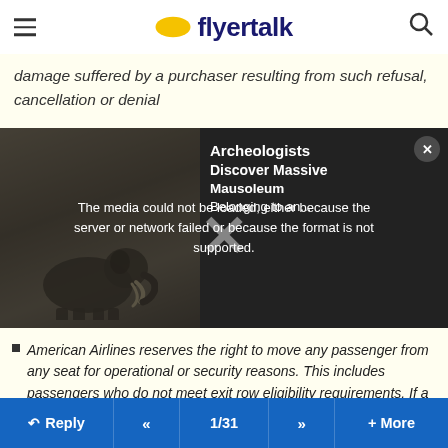flyertalk
damage suffered by a purchaser resulting from such refusal, cancellation or denial
[Figure (screenshot): Video media player overlay showing error message 'The media could not be loaded, either because the server or network failed or because the format is not supported.' with an X close button. Background shows archaeological dig photo. Text overlay reads: Archeologists Discover Massive Mausoleum Belonging to an...]
American Airlines reserves the right to move any passenger from any seat for operational or security reasons. This includes passengers who do not meet exit row eligibility requirements. If a passenger is involuntarily moved to a different flight for such reasons, the passenger may request a refund of the Same-Day Standby at aa.com/refunds
Reply  <<  1/31  >>  + More